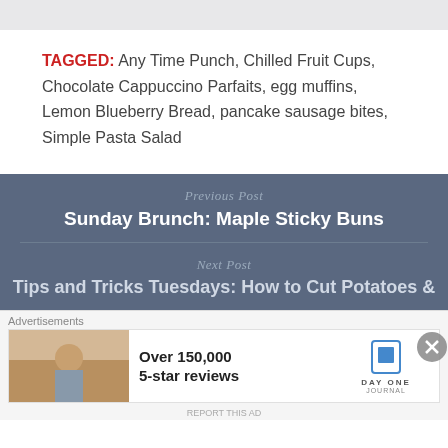TAGGED: Any Time Punch, Chilled Fruit Cups, Chocolate Cappuccino Parfaits, egg muffins, Lemon Blueberry Bread, pancake sausage bites, Simple Pasta Salad
Previous Post
Sunday Brunch: Maple Sticky Buns
Next Post
Tips and Tricks Tuesdays: How to Cut Potatoes &
Advertisements
Over 150,000 5-star reviews
DAY ONE JOURNAL